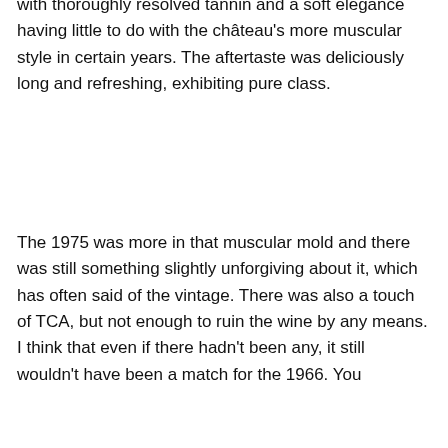with thoroughly resolved tannin and a soft elegance having little to do with the château's more muscular style in certain years. The aftertaste was deliciously long and refreshing, exhibiting pure class.
The 1975 was more in that muscular mold and there was still something slightly unforgiving about it, which has often said of the vintage. There was also a touch of TCA, but not enough to ruin the wine by any means. I think that even if there hadn't been any, it still wouldn't have been a match for the 1966. You